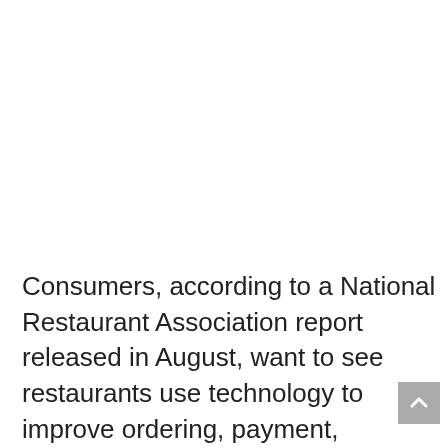Consumers, according to a National Restaurant Association report released in August, want to see restaurants use technology to improve ordering, payment,